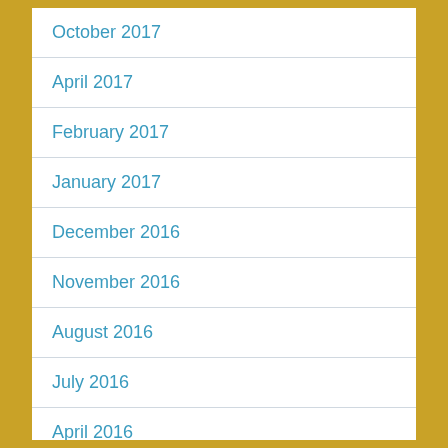October 2017
April 2017
February 2017
January 2017
December 2016
November 2016
August 2016
July 2016
April 2016
March 2016